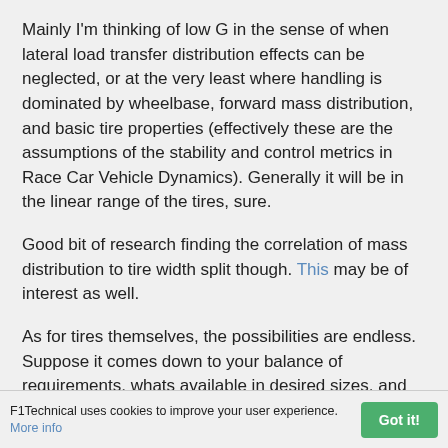Mainly I'm thinking of low G in the sense of when lateral load transfer distribution effects can be neglected, or at the very least where handling is dominated by wheelbase, forward mass distribution, and basic tire properties (effectively these are the assumptions of the stability and control metrics in Race Car Vehicle Dynamics). Generally it will be in the linear range of the tires, sure.
Good bit of research finding the correlation of mass distribution to tire width split though. This may be of interest as well.
As for tires themselves, the possibilities are endless. Suppose it comes down to your balance of requirements, whats available in desired sizes, and cost. I may be somewhat biased but I personally sport Dunlop Z1's on my car as a pretty good max performance summer tire in a
F1Technical uses cookies to improve your user experience. More info